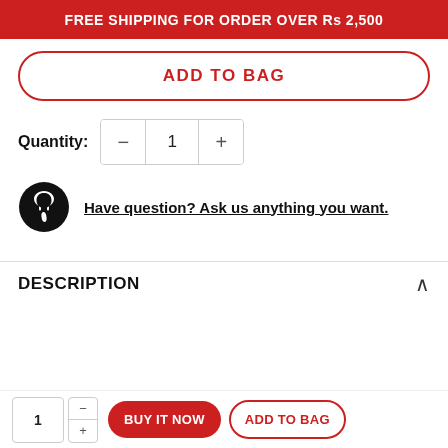FREE SHIPPING FOR ORDER OVER Rs 2,500
ADD TO BAG
Quantity: 1
Have question? Ask us anything you want.
DESCRIPTION